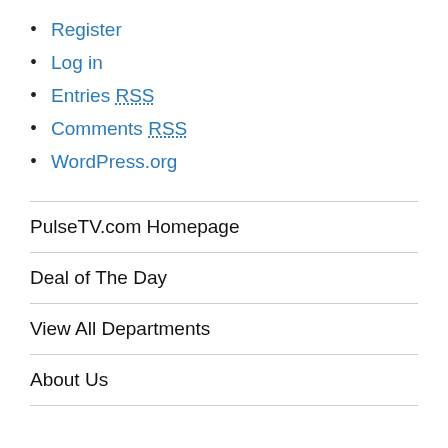Register
Log in
Entries RSS
Comments RSS
WordPress.org
PulseTV.com Homepage
Deal of The Day
View All Departments
About Us